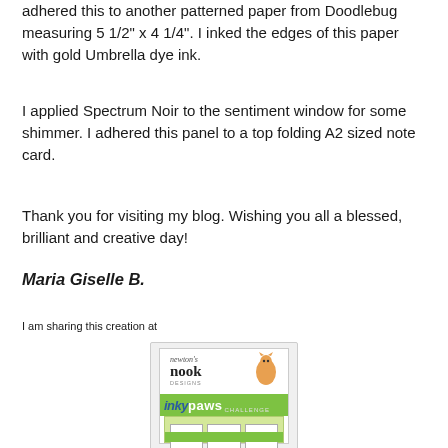adhered this to another patterned paper from Doodlebug measuring 5 1/2" x 4 1/4". I inked the edges of this paper with gold Umbrella dye ink.
I applied Spectrum Noir to the sentiment window for some shimmer. I adhered this panel to a top folding A2 sized note card.
Thank you for visiting my blog. Wishing you all a blessed, brilliant and creative day!
Maria Giselle B.
I am sharing this creation at
[Figure (logo): Newton's Nook Designs Inky Paws Challenge badge with green banner and card sketch layout]